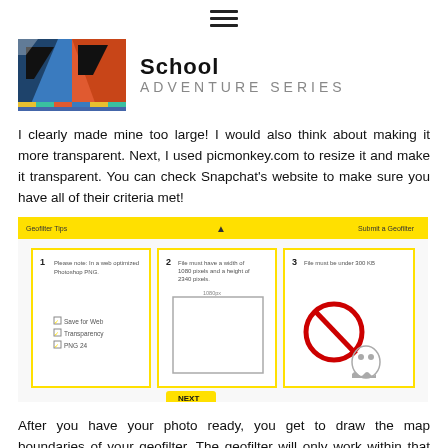[Figure (logo): Hamburger menu icon (three horizontal bars) centered at top]
[Figure (logo): School Adventure Series logo with colorful block graphic on left and bold text 'School ADVENTURE SERIES' on right]
I clearly made mine too large! I would also think about making it more transparent. Next, I used picmonkey.com to resize it and make it transparent. You can check Snapchat's website to make sure you have all of their criteria met!
[Figure (screenshot): Snapchat geofilter submission page screenshot showing three steps on yellow background with upload requirements and a prohibited symbol over a Snapchat ghost]
After you have your photo ready, you get to draw the map boundaries of your geofilter. The geofilter will only work within that boundary and during the times you set.